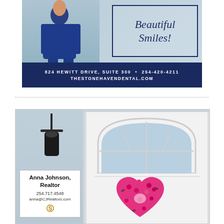[Figure (photo): Dental office advertisement showing a person in blue outfit on left, and 'Beautiful Smiles!' text in script inside a rectangle border on right, with dark navy bar at bottom showing address 824 HEWITT DRIVE, SUITE 300 • 254-420-4211 and THESTONEHAVENDENTAL.COM]
Beautiful Smiles!
824 HEWITT DRIVE, SUITE 300 • 254-420-4211 THESTONEHAVENDENTAL.COM
[Figure (photo): Real estate advertisement showing a white front door with arch window and pink heart-shaped floral wreath, exterior lamp on left side, and an info card for Anna Johnson, Realtor with phone 254.717.4548 and email anna@CJRealtors.com with CJ Realtors logo]
Anna Johnson, Realtor
254.717.4548
anna@CJRealtors.com